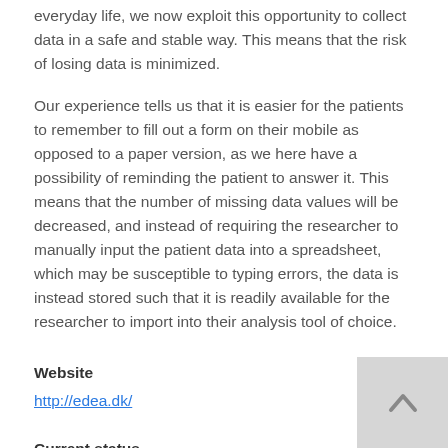everyday life, we now exploit this opportunity to collect data in a safe and stable way. This means that the risk of losing data is minimized.
Our experience tells us that it is easier for the patients to remember to fill out a form on their mobile as opposed to a paper version, as we here have a possibility of reminding the patient to answer it. This means that the number of missing data values will be decreased, and instead of requiring the researcher to manually input the patient data into a spreadsheet, which may be susceptible to typing errors, the data is instead stored such that it is readily available for the researcher to import into their analysis tool of choice.
Website
http://edea.dk/
Current status
The company has already released an app for both DHC and COPSAC and are currently working on meeting deadlines for